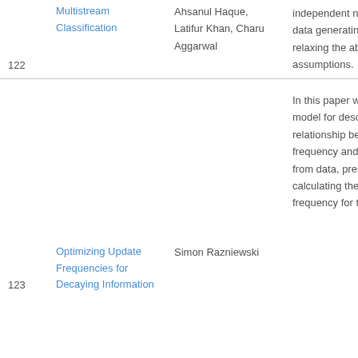| # | Title | Authors | Abstract |
| --- | --- | --- | --- |
| 122 | Multistream Classification | Ahsanul Haque, Latifur Khan, Charu Aggarwal | independent non-stationary data generating processes, relaxing the above assumptions. |
| 123 | Optimizing Update Frequencies for Decaying Information | Simon Razniewski | In this paper we present a model for describing the relationship between update frequency and income derived from data, present solutions for calculating the optimal update frequency for two |